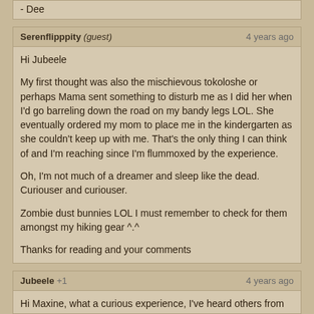- Dee
Serenflipppity (guest) | 4 years ago
Hi Jubeele

My first thought was also the mischievous tokoloshe or perhaps Mama sent something to disturb me as I did her when I'd go barreling down the road on my bandy legs LOL. She eventually ordered my mom to place me in the kindergarten as she couldn't keep up with me. That's the only thing I can think of and I'm reaching since I'm flummoxed by the experience.

Oh, I'm not much of a dreamer and sleep like the dead. Curiouser and curiouser.

Zombie dust bunnies LOL I must remember to check for them amongst my hiking gear ^.^

Thanks for reading and your comments
Jubeele +1 | 4 years ago
Hi Maxine, what a curious experience, I've heard others from